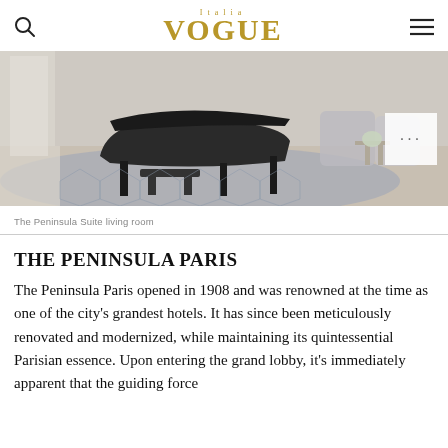VOGUE
[Figure (photo): The Peninsula Suite living room with a grand piano on a patterned carpet, elegant chairs and a side table in the background]
The Peninsula Suite living room
THE PENINSULA PARIS
The Peninsula Paris opened in 1908 and was renowned at the time as one of the city's grandest hotels. It has since been meticulously renovated and modernized, while maintaining its quintessential Parisian essence. Upon entering the grand lobby, it's immediately apparent that the guiding force